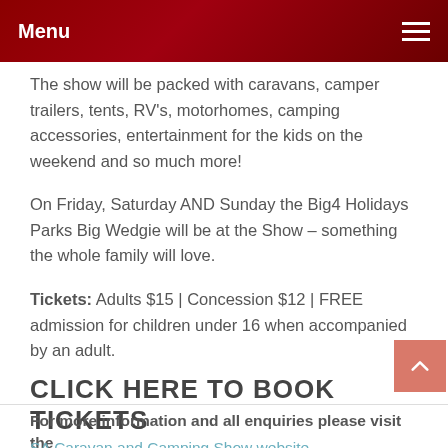Menu
The show will be packed with caravans, camper trailers, tents, RV's, motorhomes, camping accessories, entertainment for the kids on the weekend and so much more!
On Friday, Saturday AND Sunday the Big4 Holidays Parks Big Wedgie will be at the Show – something the whole family will love.
Tickets: Adults $15 | Concession $12 | FREE admission for children under 16 when accompanied by an adult.
CLICK HERE TO BOOK TICKETS
For more information and all enquiries please visit the SA Caravan and Camping Show website